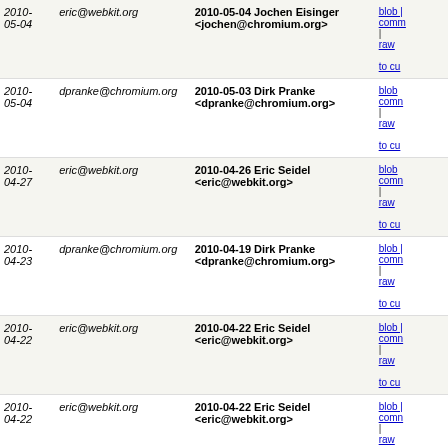| Date | Author | Commit | Links |
| --- | --- | --- | --- |
| 2010-05-04 | eric@webkit.org | 2010-05-04 Jochen Eisinger <jochen@chromium.org> | blob | comm | raw | to cu |
| 2010-05-04 | dpranke@chromium.org | 2010-05-03 Dirk Pranke <dpranke@chromium.org> | blob | comm | raw | to cu |
| 2010-04-27 | eric@webkit.org | 2010-04-26 Eric Seidel <eric@webkit.org> | blob | comm | raw | to cu |
| 2010-04-23 | dpranke@chromium.org | 2010-04-19 Dirk Pranke <dpranke@chromium.org> | blob | comm | raw | to cu |
| 2010-04-22 | eric@webkit.org | 2010-04-22 Eric Seidel <eric@webkit.org> | blob | comm | raw | to cu |
| 2010-04-22 | eric@webkit.org | 2010-04-22 Eric Seidel <eric@webkit.org> | blob | comm | raw | to cu |
| 2010-04-22 | eric@webkit.org | 2010-04-22 Eric Seidel <eric@webkit.org> | blob | comm | raw | to cu |
| 2010-04-22 | eric@webkit.org | 2010-04-21 Eric Seidel <eric@webkit.org> | blob | comm | raw | to cu |
| 2010-04-21 | eric@webkit.org | 2010-04-21 Eric Seidel <eric@webkit.org> | blob | comm | raw | to cu |
| 2010-04-21 | eric@webkit.org | 2010-04-21 Eric Seidel <eric@webkit.org> | blob | comm | raw | to cu |